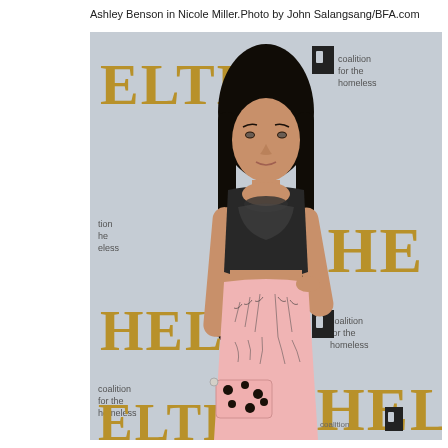Ashley Benson in Nicole Miller.Photo by John Salangsang/BFA.com
[Figure (photo): A woman (Ashley Benson) wearing a black lace and pink floral gown holding a pink clutch, posing in front of a 'SHELTER coalition for the homeless' step-and-repeat banner backdrop.]